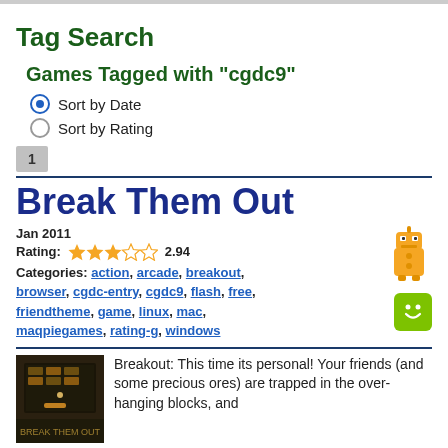Tag Search
Games Tagged with "cgdc9"
Sort by Date (selected)
Sort by Rating
1
Break Them Out
Jan 2011
Rating: 2.94
Categories: action, arcade, breakout, browser, cgdc-entry, cgdc9, flash, free, friendtheme, game, linux, mac, maqpiegames, rating-g, windows
Breakout: This time its personal! Your friends (and some precious ores) are trapped in the over-hanging blocks, and it's up to you and your bouncing pick-axe of destruction to bust them out. Each friend you